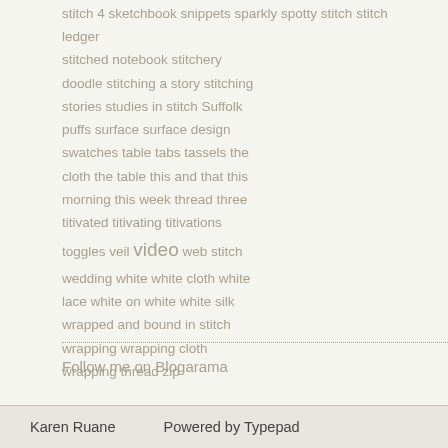stitch 4 sketchbook snippets sparkly spotty stitch stitch ledger stitched notebook stitchery doodle stitching a story stitching stories studies in stitch Suffolk puffs surface surface design swatches table tabs tassels the cloth the table this and that this morning this week thread three titivated titivating titivations toggles veil video web stitch wedding white white cloth white lace white on white white silk wrapped and bound in stitch wrapping wrapping cloth wrapping thread zip
Follow me on Blogarama
Karen Ruane    Powered by Typepad